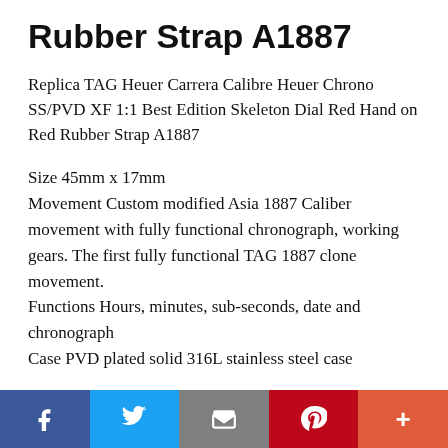Rubber Strap A1887
Replica TAG Heuer Carrera Calibre Heuer Chrono SS/PVD XF 1:1 Best Edition Skeleton Dial Red Hand on Red Rubber Strap A1887
Size 45mm x 17mm
Movement Custom modified Asia 1887 Caliber movement with fully functional chronograph, working gears. The first fully functional TAG 1887 clone movement.
Functions Hours, minutes, sub-seconds, date and chronograph
Case PVD plated solid 316L stainless steel case
[Figure (other): Social sharing bar with buttons for Facebook, Twitter, Email, Pinterest, and More]